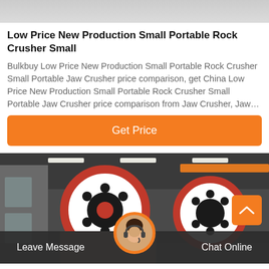[Figure (photo): Top partial image of machinery or industrial equipment, gray/stone texture]
Low Price New Production Small Portable Rock Crusher Small
Bulkbuy Low Price New Production Small Portable Rock Crusher Small Portable Jaw Crusher price comparison, get China Low Price New Production Small Portable Rock Crusher Small Portable Jaw Crusher price comparison from Jaw Crusher, Jaw…
[Figure (other): Orange 'Get Price' button]
[Figure (photo): Industrial machinery photo showing large red and white flywheels of a jaw crusher in a factory setting]
Leave Message
Chat Online